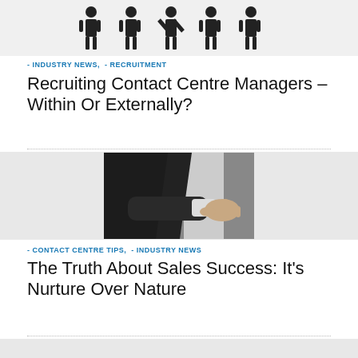[Figure (illustration): Row of human figure icons with one X figure in the middle, representing internal vs external recruitment]
- INDUSTRY NEWS, - RECRUITMENT
Recruiting Contact Centre Managers – Within Or Externally?
[Figure (photo): Person in a dark suit extending a hand for a handshake against a white shirt background]
- CONTACT CENTRE TIPS, - INDUSTRY NEWS
The Truth About Sales Success: It's Nurture Over Nature